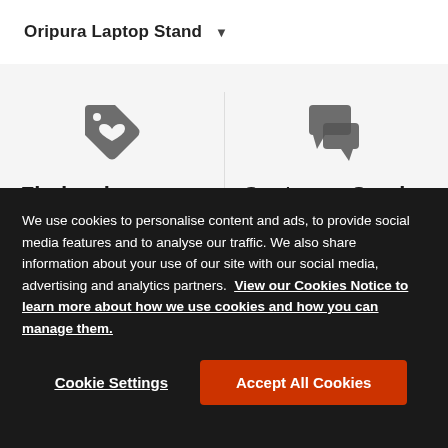Oripura Laptop Stand ▾
Find a showroom
Schedule an appointment at one of our showrooms around
Customer Service
Need to discuss an issue with us or have questions about
We use cookies to personalise content and ads, to provide social media features and to analyse our traffic. We also share information about your use of our site with our social media, advertising and analytics partners. View our Cookies Notice to learn more about how we use cookies and how you can manage them.
Cookie Settings
Accept All Cookies